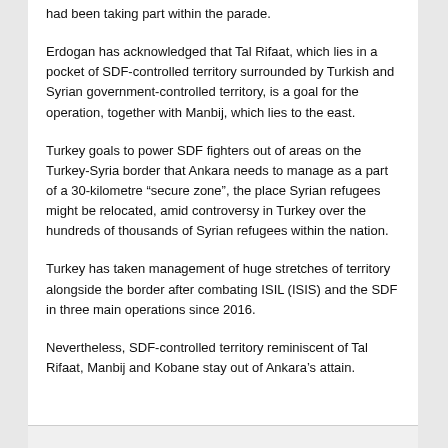had been taking part within the parade.
Erdogan has acknowledged that Tal Rifaat, which lies in a pocket of SDF-controlled territory surrounded by Turkish and Syrian government-controlled territory, is a goal for the operation, together with Manbij, which lies to the east.
Turkey goals to power SDF fighters out of areas on the Turkey-Syria border that Ankara needs to manage as a part of a 30-kilometre “secure zone”, the place Syrian refugees might be relocated, amid controversy in Turkey over the hundreds of thousands of Syrian refugees within the nation.
Turkey has taken management of huge stretches of territory alongside the border after combating ISIL (ISIS) and the SDF in three main operations since 2016.
Nevertheless, SDF-controlled territory reminiscent of Tal Rifaat, Manbij and Kobane stay out of Ankara’s attain.